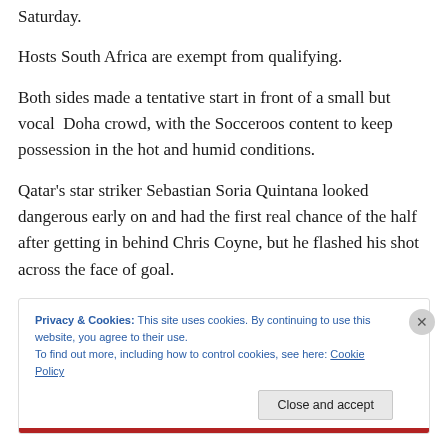Saturday.
Hosts South Africa are exempt from qualifying.
Both sides made a tentative start in front of a small but vocal  Doha crowd, with the Socceroos content to keep possession in the hot and humid conditions.
Qatar's star striker Sebastian Soria Quintana looked dangerous early on and had the first real chance of the half after getting in behind Chris Coyne, but he flashed his shot across the face of goal.
Privacy & Cookies: This site uses cookies. By continuing to use this website, you agree to their use.
To find out more, including how to control cookies, see here: Cookie Policy
Close and accept